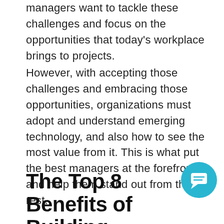managers want to tackle these challenges and focus on the opportunities that today's workplace brings to projects.
However, with accepting those challenges and embracing those opportunities, organizations must adopt and understand emerging technology, and also how to see the most value from it. This is what put the best managers at the forefront, and help them stand out from the rest.
The Top 8 Benefits of Building Automation in Projects
[Figure (other): Teal/blue circular chat bubble icon in the bottom right corner]